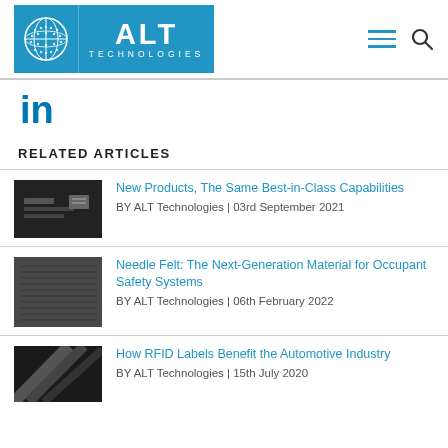ALT TECHNOLOGIES
[Figure (logo): ALT Technologies logo with globe icon on blue background]
[Figure (logo): LinkedIn 'in' icon in blue]
RELATED ARTICLES
New Products, The Same Best-in-Class Capabilities
BY ALT Technologies | 03rd September 2021
Needle Felt: The Next-Generation Material for Occupant Safety Systems
BY ALT Technologies | 06th February 2022
How RFID Labels Benefit the Automotive Industry
BY ALT Technologies | 15th July 2020